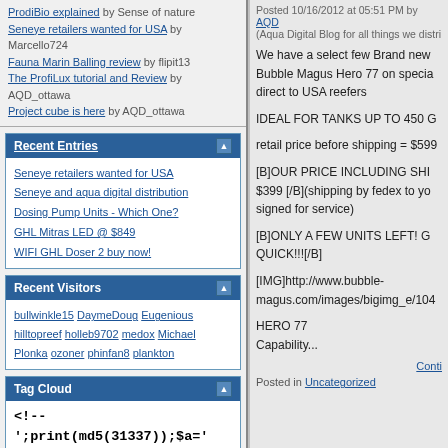ProdiBio explained by Sense of nature
Seneye retailers wanted for USA by Marcello724
Fauna Marin Balling review by flipit13
The ProfiLux tutorial and Review by AQD_ottawa
Project cube is here by AQD_ottawa
Recent Entries
Seneye retailers wanted for USA
Seneye and aqua digital distribution
Dosing Pump Units - Which One?
GHL Mitras LED @ $849
WIFI GHL Doser 2 buy now!
Recent Visitors
bullwinkle15 DaymeDoug Eugenious hilltopreef holleb9702 medox Michael Plonka ozoner phinfan8 plankton
Tag Cloud
<!-- ';print(md5(31337));$a='1*17 ssvzz4tl
Posted 10/16/2012 at 05:51 PM by AQD (Aqua Digital Blog for all things we distri
We have a select few Brand new Bubble Magus Hero 77 on specia direct to USA reefers
IDEAL FOR TANKS UP TO 450 G
retail price before shipping = $599
[B]OUR PRICE INCLUDING SHI $399 [/B](shipping by fedex to yo signed for service)
[B]ONLY A FEW UNITS LEFT! G QUICK!!![/B]
[IMG]http://www.bubble-magus.com/images/bigimg_e/104
HERO 77
Capability...
Continue
Posted in Uncategorized
GHL LED Revolution is